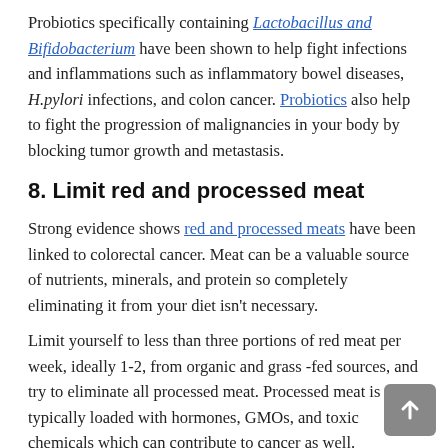Probiotics specifically containing Lactobacillus and Bifidobacterium have been shown to help fight infections and inflammations such as inflammatory bowel diseases, H.pylori infections, and colon cancer. Probiotics also help to fight the progression of malignancies in your body by blocking tumor growth and metastasis.
8. Limit red and processed meat
Strong evidence shows red and processed meats have been linked to colorectal cancer. Meat can be a valuable source of nutrients, minerals, and protein so completely eliminating it from your diet isn't necessary.
Limit yourself to less than three portions of red meat per week, ideally 1-2, from organic and grass -fed sources, and try to eliminate all processed meat. Processed meat is typically loaded with hormones, GMOs, and toxic chemicals which can contribute to cancer as well.
9. Easy on the sunscreen